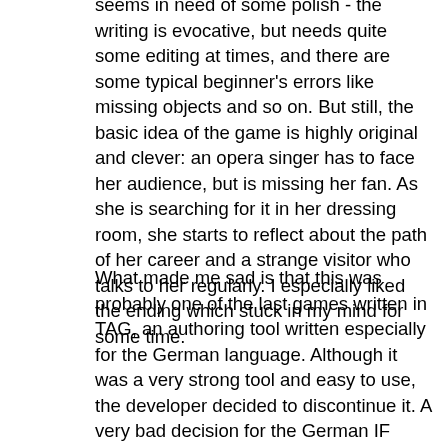seems in need of some polish - the writing is evocative, but needs quite some editing at times, and there are some typical beginner's errors like missing objects and so on. But still, the basic idea of the game is highly original and clever: an opera singer has to face her audience, but is missing her fan. As she is searching for it in her dressing room, she starts to reflect about the path of her career and a strange visitor who talks to her regularly. I especially liked the ending which stuck in my mind for some time.
What made me sad is that this was probably one of the last games written in TAG, an authoring tool written especially for the German language. Although it was a very strong tool and easy to use, the developer decided to discontinue it. A very bad decision for the German IF scene imho, which is virtually dead these days.
Sadly, this also seems to be the last game the author - using a somewhat funny pseudonym, if you remember